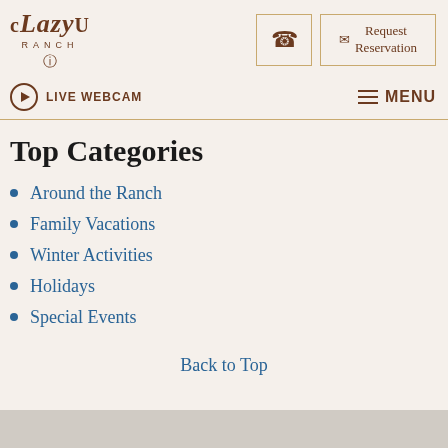[Figure (logo): C Lazy U Ranch logo with stylized script text and small circular icon]
[Figure (other): Phone icon button in a bordered box]
[Figure (other): Envelope icon with 'Request Reservation' text in a bordered box]
LIVE WEBCAM
MENU
Top Categories
Around the Ranch
Family Vacations
Winter Activities
Holidays
Special Events
Back to Top